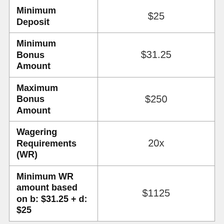|  |  |
| --- | --- |
| Minimum Deposit | $25 |
| Minimum Bonus Amount | $31.25 |
| Maximum Bonus Amount | $250 |
| Wagering Requirements (WR) | 20x |
| Minimum WR amount based on b: $31.25 + d: $25 | $1125 |